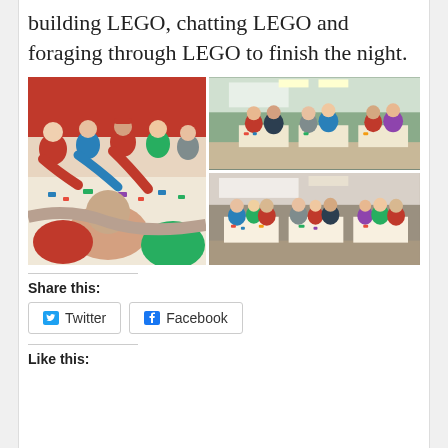building LEGO, chatting LEGO and foraging through LEGO to finish the night.
[Figure (photo): Collage of three photos showing people gathered around tables building with LEGO bricks in a classroom or community room setting. Left photo shows a large group leaning over a long table covered in LEGO pieces. Top-right photo shows people seated at tables in a room. Bottom-right photo shows another angle of people seated and working at tables.]
Share this:
Twitter
Facebook
Like this: